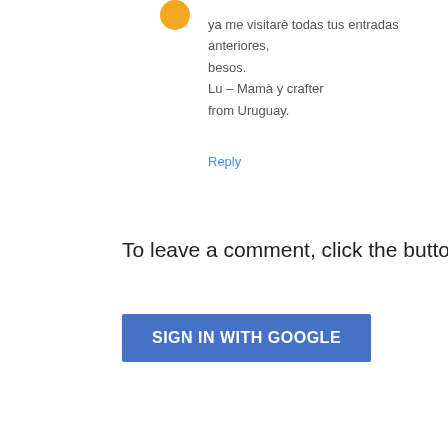ya me visitarè todas tus entradas anteriores,
besos.
Lu - Mamà y crafter
from Uruguay.
Reply
To leave a comment, click the button below to sign in wi
SIGN IN WITH GOOGLE
Newer Post
Home
Subscribe to: Post Comments (Atom)
Simpl